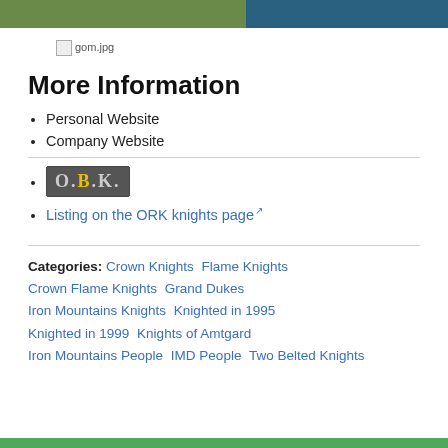[Figure (photo): Top image bar showing partial outdoor scene with green foliage on left and blue object on right]
[Figure (photo): Broken image placeholder labeled gom.jpg]
More Information
Personal Website
Company Website
O.B.K. logo image link
Listing on the ORK knights page
Categories:  Crown Knights    Flame Knights    Crown Flame Knights    Grand Dukes    Iron Mountains Knights    Knighted in 1995    Knighted in 1999    Knights of Amtgard    Iron Mountains People    IMD People    Two Belted Knights